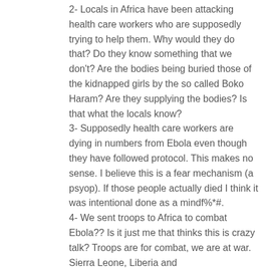2- Locals in Africa have been attacking health care workers who are supposedly trying to help them. Why would they do that? Do they know something that we don't? Are the bodies being buried those of the kidnapped girls by the so called Boko Haram? Are they supplying the bodies? Is that what the locals know?
3- Supposedly health care workers are dying in numbers from Ebola even though they have followed protocol. This makes no sense. I believe this is a fear mechanism (a psyop). If those people actually died I think it was intentional done as a mindf%*#.
4- We sent troops to Africa to combat Ebola?? Is it just me that thinks this is crazy talk? Troops are for combat, we are at war. Sierra Leone, Liberia and